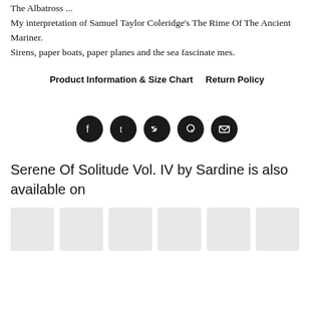The Albatross ...
My interpretation of Samuel Taylor Coleridge's The Rime Of The Ancient Mariner.
Sirens, paper boats, paper planes and the sea fascinate mes.
Product Information & Size Chart    Return Policy
[Figure (infographic): Row of 5 circular social media share icons (Facebook, Tumblr, Twitter, Pinterest, Email) in dark/black circles]
Serene Of Solitude Vol. IV by Sardine is also available on
[Figure (infographic): Row of 6 light grey placeholder boxes representing streaming/music platform logos]